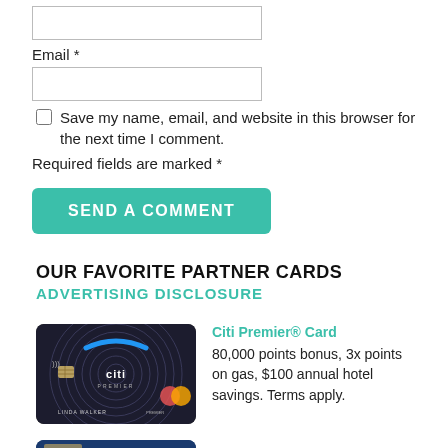Email *
Save my name, email, and website in this browser for the next time I comment.
Required fields are marked *
SEND A COMMENT
OUR FAVORITE PARTNER CARDS
ADVERTISING DISCLOSURE
[Figure (photo): Citi Premier credit card image on dark background]
Citi Premier® Card
80,000 points bonus, 3x points on gas, $100 annual hotel savings. Terms apply.
[Figure (photo): Chase Sapphire credit card image partially visible]
Chase Sapphire